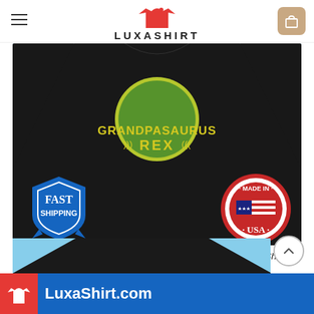LUXASHIRT
[Figure (photo): Black long-sleeve Grandpasaurus Rex shirt displayed on a beach background with fast shipping and made in USA badges]
Grandpa Saurus, Grandpa Saurus Tshirt, Grandpa Saurus Shirt, Grandpa d Sweater Shirt
[Figure (photo): Second product image partially visible at bottom — black shirt with beach background]
LuxaShirt.com